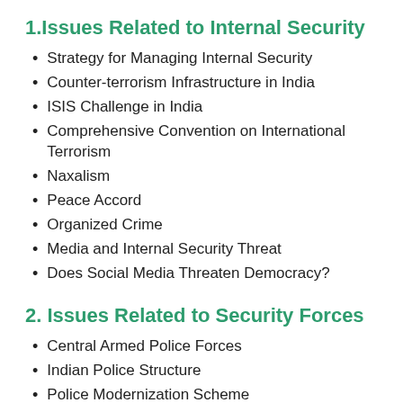1.Issues Related to Internal Security
Strategy for Managing Internal Security
Counter-terrorism Infrastructure in India
ISIS Challenge in India
Comprehensive Convention on International Terrorism
Naxalism
Peace Accord
Organized Crime
Media and Internal Security Threat
Does Social Media Threaten Democracy?
2. Issues Related to Security Forces
Central Armed Police Forces
Indian Police Structure
Police Modernization Scheme